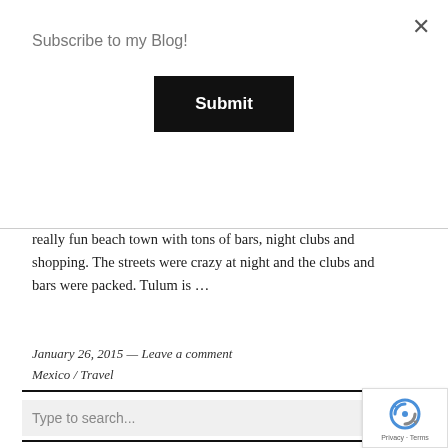Subscribe to my Blog!
Submit
really fun beach town with tons of bars, night clubs and shopping. The streets were crazy at night and the clubs and bars were packed. Tulum is …
January 26, 2015 — Leave a comment
Mexico / Travel
Type to search...